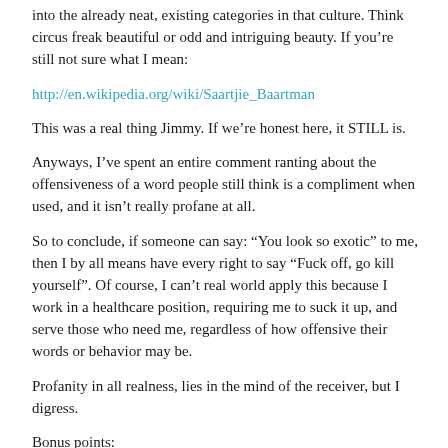into the already neat, existing categories in that culture. Think circus freak beautiful or odd and intriguing beauty. If you’re still not sure what I mean:
http://en.wikipedia.org/wiki/Saartjie_Baartman
This was a real thing Jimmy. If we’re honest here, it STILL is.
Anyways, I’ve spent an entire comment ranting about the offensiveness of a word people still think is a compliment when used, and it isn’t really profane at all.
So to conclude, if someone can say: “You look so exotic” to me, then I by all means have every right to say “Fuck off, go kill yourself”. Of course, I can’t real world apply this because I work in a healthcare position, requiring me to suck it up, and serve those who need me, regardless of how offensive their words or behavior may be.
Profanity in all realness, lies in the mind of the receiver, but I digress.
Bonus points:
Here’s a little gem that will explain (better than I ever could) how words that seemingly have no offensiveness can be hurtful to others without you even knowing it, and how to stop it.
https://www.youtube.com/watch?v=EE5en61k-_Y